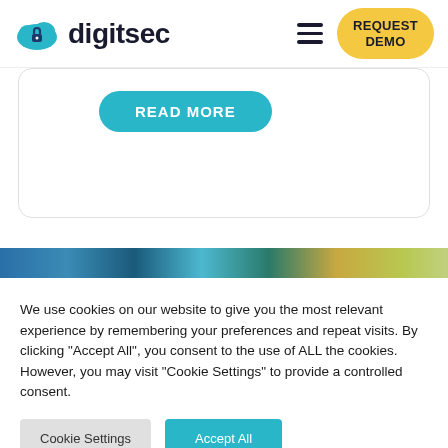digitsec — REQUEST DEMO
[Figure (screenshot): READ MORE button (teal/cyan rounded rectangle)]
[Figure (photo): Decorative horizontal image strip with circular profile photos and colorful banner]
We use cookies on our website to give you the most relevant experience by remembering your preferences and repeat visits. By clicking “Accept All”, you consent to the use of ALL the cookies. However, you may visit “Cookie Settings” to provide a controlled consent.
Cookie Settings | Accept All